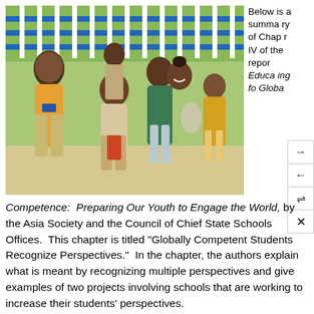[Figure (photo): A group of children, approximately six, smiling and posing together outdoors in front of a blue and white metal fence with green foliage behind it. The children appear to be from South Asia and are wearing casual clothing.]
Below is a summary of Chapter IV of the report Educating for Global Competence: Preparing Our Youth to Engage the World, by the Asia Society and the Council of Chief State Schools Offices. This chapter is titled “Globally Competent Students Recognize Perspectives.” In the chapter, the authors explain what is meant by recognizing multiple perspectives and give examples of two projects involving schools that are working to increase their students’ perspectives.